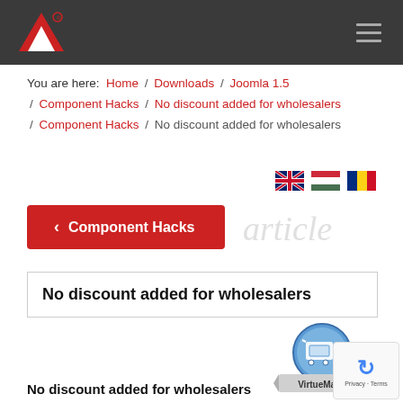Header navigation bar with logo and hamburger menu
You are here:  Home  /  Downloads  /  Joomla 1.5  /  Component Hacks  /  No discount added for wholesalers  /  Component Hacks  /  No discount added for wholesalers
[Figure (illustration): Three country flags: UK, Hungary, Romania]
< Component Hacks (back button)
No discount added for wholesalers
[Figure (logo): VirtueMart shopping cart logo with banner]
No discount added for wholesalers